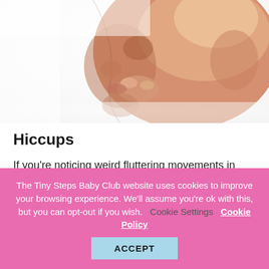[Figure (illustration): Close-up 3D rendered illustration of a fetus in profile, showing the face and hands near the mouth, with warm skin tones against a white background.]
Hiccups
If you're noticing weird fluttering movements in your belly, don't worry – it's most likely hiccups. As your little person continues to develop their lungs, the chances of them having a bout of hiccups increases.
The Tiny Steps Baby Club website uses cookies to improve your browsing experience. We'll assume you're ok with this, but you can opt-out if you wish. Cookie Settings Cookie Policy ACCEPT